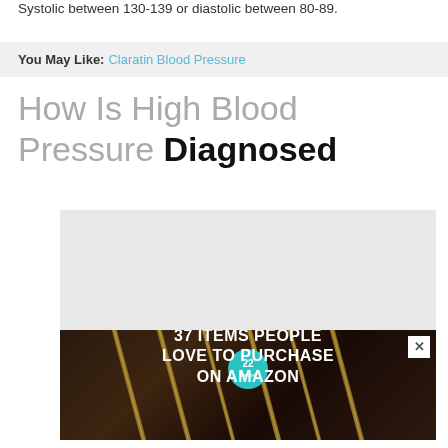Systolic between 130-139 or diastolic between 80-89.
You May Like: Claratin Blood Pressure
How Is High Blood Pressure Diagnosed
[Figure (other): Advertisement banner: '37 ITEMS PEOPLE LOVE TO PURCHASE ON AMAZON' with kitchen knives background on dark surface, teal badge showing '22', and an X close button]